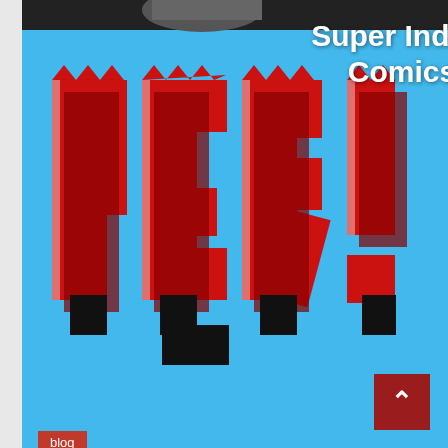[Figure (illustration): Comic book cover art with large red bold letter text 'PER!' in 3D style on a blue background, with a character visible at top. White text overlay reads 'Super Indian Comics'. A red badge labeled 'blog' is in the bottom-left corner of the image.]
Come See Us At WonderCon 2016 in Los Angeles
6 years ago  ReziumGuru2
YES! Arigon Starr will have a table in the Small Press Area in the Exhibit Hall at this year's WonderCon....